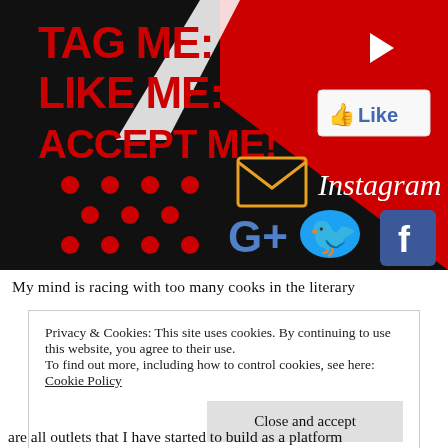[Figure (illustration): Social media promotional graphic with black, red, and white geometric background. Bold red text reads 'TAG ME: LIKE ME: ACCEPT ME!' on the left. Social media icons visible: YouTube (red play button), Facebook Like button, Instagram script logo, email envelope icon, Google+ logo, Twitter bird, and Facebook 'f' logo.]
My mind is racing with too many cooks in the literary
Privacy & Cookies: This site uses cookies. By continuing to use this website, you agree to their use.
To find out more, including how to control cookies, see here: Cookie Policy
are all outlets that I have started to build as a platform